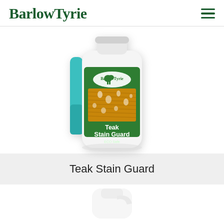BarlowTyrie
[Figure (photo): BarlowTyrie Teak Stain Guard product bottle — white plastic bottle with green label showing the BarlowTyrie logo (elephant), a wood surface with water droplets, and 'Teak Stain Guard ECO Safe' text. A teal/turquoise handle or accessory is visible behind the bottle.]
Teak Stain Guard
[Figure (photo): Partial view of another BarlowTyrie product bottle (white spray bottle), cropped at the bottom of the page.]